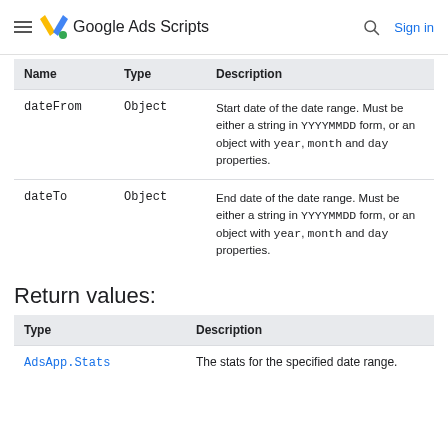Google Ads Scripts  Sign in
| Name | Type | Description |
| --- | --- | --- |
| dateFrom | Object | Start date of the date range. Must be either a string in YYYYMMDD form, or an object with year, month and day properties. |
| dateTo | Object | End date of the date range. Must be either a string in YYYYMMDD form, or an object with year, month and day properties. |
Return values:
| Type | Description |
| --- | --- |
| AdsApp.Stats | The stats for the specified date range. |